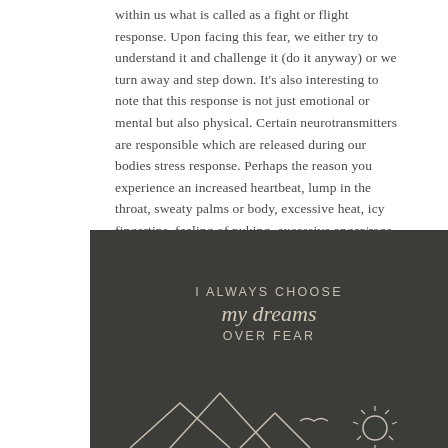within us what is called as a fight or flight response. Upon facing this fear, we either try to understand it and challenge it (do it anyway) or we turn away and step down. It's also interesting to note that this response is not just emotional or mental but also physical. Certain neurotransmitters are responsible which are released during our bodies stress response. Perhaps the reason you experience an increased heartbeat, lump in the throat, sweaty palms or body, excessive heat, icy fingertips, feeling of puking, excessive anger/rage etc.,
[Figure (illustration): Dark charcoal/olive background panel with inspirational quote text reading 'I ALWAYS CHOOSE my dreams OVER FEAR' in mixed serif italic and uppercase sans-serif lettering in beige/cream color. Bottom portion shows white line art of mountain peaks and a stylized sun with rays.]